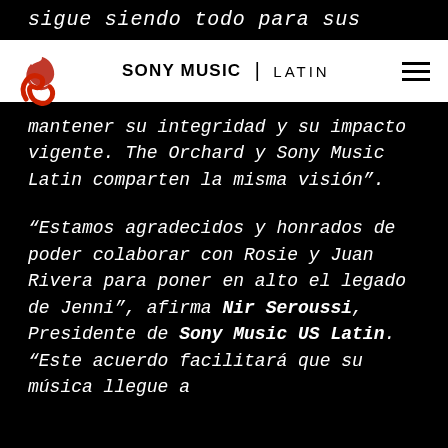sigue siendo todo para sus
SONY MUSIC | LATIN
mantener su integridad y su impacto vigente. The Orchard y Sony Music Latin comparten la misma visión”.
“Estamos agradecidos y honrados de poder colaborar con Rosie y Juan Rivera para poner en alto el legado de Jenni”, afirma Nir Seroussi, Presidente de Sony Music US Latin. “Este acuerdo facilitará que su música llegue a